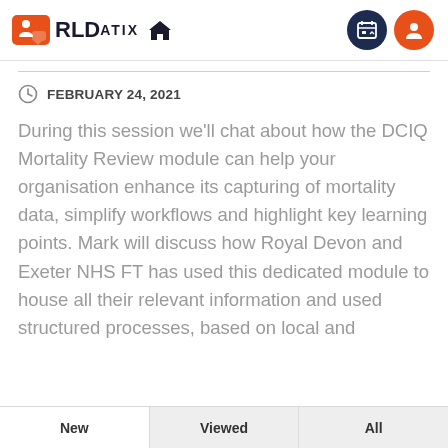RLDatix
FEBRUARY 24, 2021
During this session we'll chat about how the DCIQ Mortality Review module can help your organisation enhance its capturing of mortality data, simplify workflows and highlight key learning points. Mark will discuss how Royal Devon and Exeter NHS FT has used this dedicated module to house all their relevant information and used structured processes, based on local and
New   Viewed   All